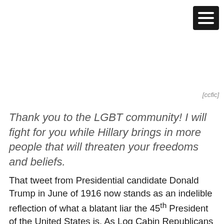[Figure (other): Hamburger/menu icon button — black rounded rectangle with three white horizontal bars]
[ccfic]
Thank you to the LGBT community! I will fight for you while Hillary brings in more people that will threaten your freedoms and beliefs.
That tweet from Presidential candidate Donald Trump in June of 1916 now stands as an indelible reflection of what a blatant liar the 45th President of the United States is. As Log Cabin Republicans bend over backwards in a feat worthy of a circus